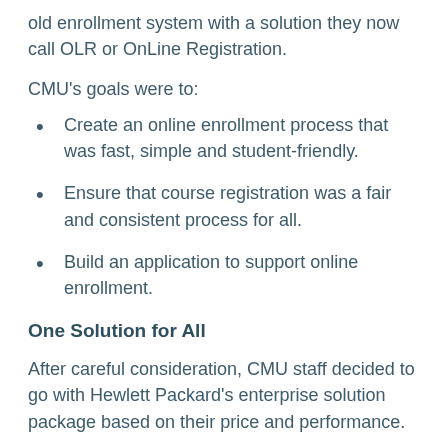old enrollment system with a solution they now call OLR or OnLine Registration.
CMU's goals were to:
Create an online enrollment process that was fast, simple and student-friendly.
Ensure that course registration was a fair and consistent process for all.
Build an application to support online enrollment.
One Solution for All
After careful consideration, CMU staff decided to go with Hewlett Packard's enterprise solution package based on their price and performance.